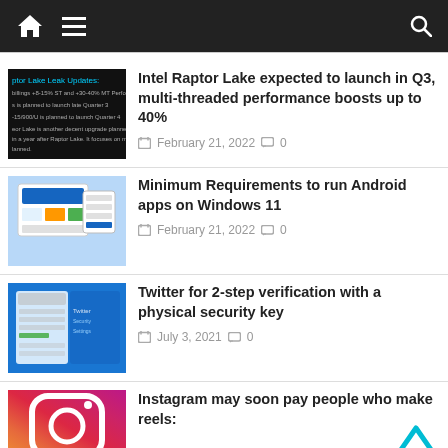Navigation bar with home, menu, and search icons
Intel Raptor Lake expected to launch in Q3, multi-threaded performance boosts up to 40% — February 21, 2022 — 0 comments
Minimum Requirements to run Android apps on Windows 11 — February 21, 2022 — 0 comments
Twitter for 2-step verification with a physical security key — July 3, 2021 — 0 comments
Instagram may soon pay people who make reels: